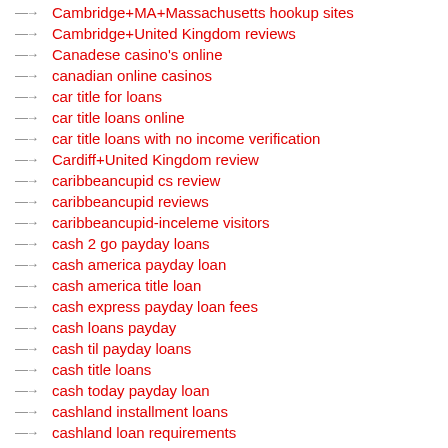Cambridge+MA+Massachusetts hookup sites
Cambridge+United Kingdom reviews
Canadese casino's online
canadian online casinos
car title for loans
car title loans online
car title loans with no income verification
Cardiff+United Kingdom review
caribbeancupid cs review
caribbeancupid reviews
caribbeancupid-inceleme visitors
cash 2 go payday loans
cash america payday loan
cash america title loan
cash express payday loan fees
cash loans payday
cash til payday loans
cash title loans
cash today payday loan
cashland installment loans
cashland loan requirements